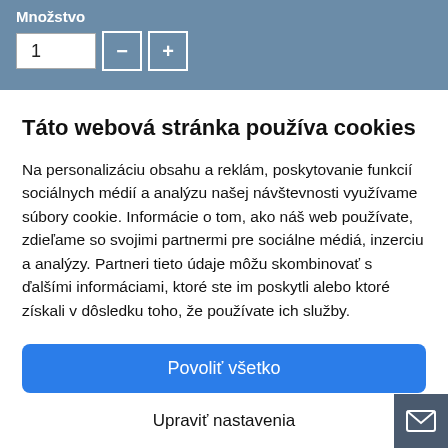Množstvo
1 — +
Táto webová stránka používa cookies
Na personalizáciu obsahu a reklám, poskytovanie funkcií sociálnych médií a analýzu našej návštevnosti využívame súbory cookie. Informácie o tom, ako náš web používate, zdieľame so svojimi partnermi pre sociálne médiá, inzerciu a analýzy. Partneri tieto údaje môžu skombinovať s ďalšími informáciami, ktoré ste im poskytli alebo ktoré získali v dôsledku toho, že používate ich služby.
Povoliť všetko
Upraviť nastavenia
[Figure (illustration): Email/envelope icon in bottom-right corner on dark grey background]